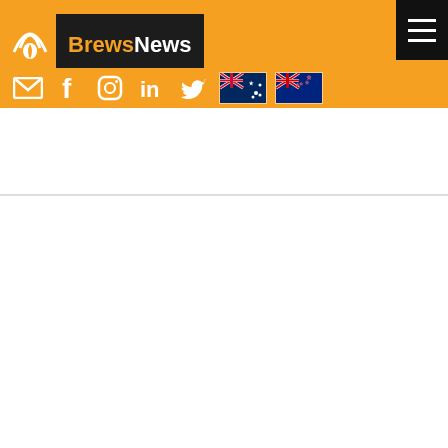BrewsNews - navigation header with social icons
| Brand | Type | Class | Date | Owner |
| --- | --- | --- | --- | --- |
| YELLOWGLEN | Word | 32 | ... Jul 2020 | Es... Li... |
| ECS Organics | Word | 3, 5, 29, 30, 32, 35, 44 | 09 Jul 2020 | EC... Pty... |
| 10's ESTATE | Word | 29, 31, 32, 33 | 13 Jul 2020 | 10... Ltd... |
| ESTRELLA GALICIA | Figurative | 32 | 17 Jul 2020 | HI... RI... |
| DRINK.O.POP | Figurative | 32 | 16 Jul 2020 | PR... IP... LI... |
| HAZY JANE | Word | 32 | 14 Jul 2020 | Br... |
| 100 ACRES | Figurative | 32, 33 | 20 Jul 2020 | Bu... |